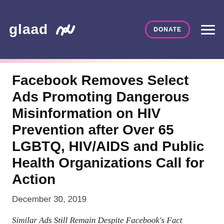glaad DONATE
Facebook Removes Select Ads Promoting Dangerous Misinformation on HIV Prevention after Over 65 LGBTQ, HIV/AIDS and Public Health Organizations Call for Action
December 30, 2019
Similar Ads Still Remain Despite Facebook's Fact Checking Agency Categorizing Ads as 'Misleading'